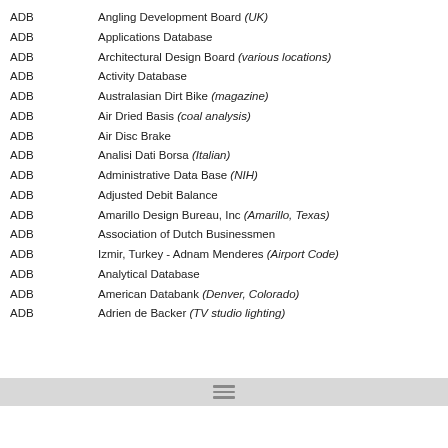ADB   Angling Development Board (UK)
ADB   Applications Database
ADB   Architectural Design Board (various locations)
ADB   Activity Database
ADB   Australasian Dirt Bike (magazine)
ADB   Air Dried Basis (coal analysis)
ADB   Air Disc Brake
ADB   Analisi Dati Borsa (Italian)
ADB   Administrative Data Base (NIH)
ADB   Adjusted Debit Balance
ADB   Amarillo Design Bureau, Inc (Amarillo, Texas)
ADB   Association of Dutch Businessmen
ADB   Izmir, Turkey - Adnam Menderes (Airport Code)
ADB   Analytical Database
ADB   American Databank (Denver, Colorado)
ADB   Adrien de Backer (TV studio lighting)